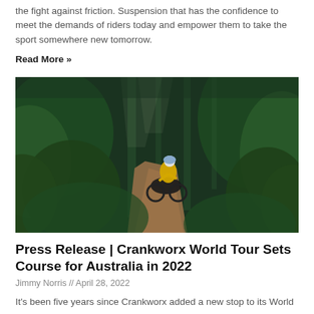the fight against friction. Suspension that has the confidence to meet the demands of riders today and empower them to take the sport somewhere new tomorrow.
Read More »
[Figure (photo): A mountain biker in a yellow jersey riding a dirt trail through dense green forest and jungle vegetation.]
Press Release | Crankworx World Tour Sets Course for Australia in 2022
Jimmy Norris // April 28, 2022
It's been five years since Crankworx added a new stop to its World